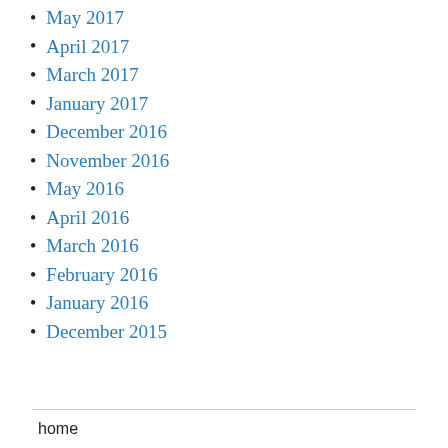May 2017
April 2017
March 2017
January 2017
December 2016
November 2016
May 2016
April 2016
March 2016
February 2016
January 2016
December 2015
home